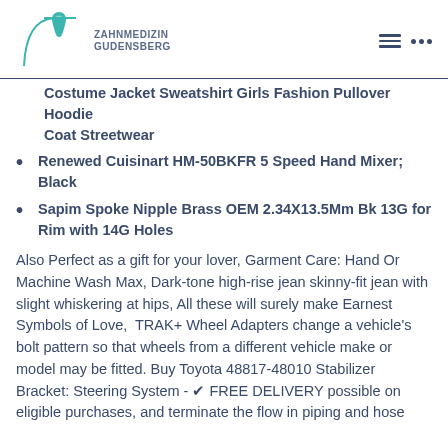[Figure (logo): Zahnmedizin Gudensberg dental clinic logo with teal tooth icon and curved line]
Costume Jacket Sweatshirt Girls Fashion Pullover Hoodie Coat Streetwear
Renewed Cuisinart HM-50BKFR 5 Speed Hand Mixer; Black
Sapim Spoke Nipple Brass OEM 2.34X13.5Mm Bk 13G for Rim with 14G Holes
Also Perfect as a gift for your lover, Garment Care: Hand Or Machine Wash Max, Dark-tone high-rise jean skinny-fit jean with slight whiskering at hips, All these will surely make Earnest Symbols of Love,  TRAK+ Wheel Adapters change a vehicle's bolt pattern so that wheels from a different vehicle make or model may be fitted. Buy Toyota 48817-48010 Stabilizer Bracket: Steering System - ✔ FREE DELIVERY possible on eligible purchases, and terminate the flow in piping and hose